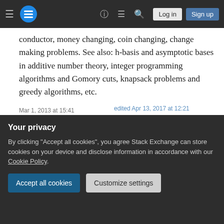Stack Exchange navigation bar with hamburger menu, logo, help, chat, search, Log in, Sign up
conductor, money changing, coin changing, change making problems. See also: h-basis and asymptotic bases in additive number theory, integer programming algorithms and Gomory cuts, knapsack problems and greedy algorithms, etc.
Share  Cite  Follow
edited Apr 13, 2017 at 12:21
Community Bot 1
answered Feb 28, 2013 at 20:00
Your privacy
By clicking "Accept all cookies", you agree Stack Exchange can store cookies on your device and disclose information in accordance with our Cookie Policy.
Accept all cookies   Customize settings
Mar 1, 2013 at 15:41